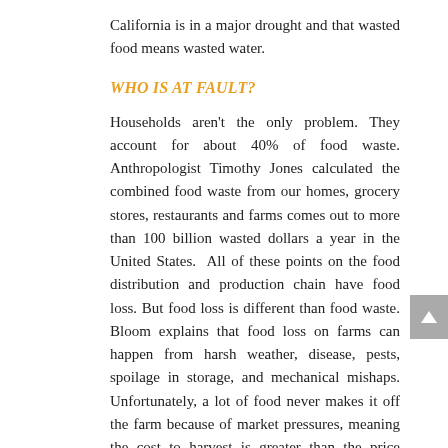California is in a major drought and that wasted food means wasted water.
WHO IS AT FAULT?
Households aren't the only problem. They account for about 40% of food waste. Anthropologist Timothy Jones calculated the combined food waste from our homes, grocery stores, restaurants and farms comes out to more than 100 billion wasted dollars a year in the United States.  All of these points on the food distribution and production chain have food loss. But food loss is different than food waste. Bloom explains that food loss on farms can happen from harsh weather, disease, pests, spoilage in storage, and mechanical mishaps. Unfortunately, a lot of food never makes it off the farm because of market pressures, meaning the cost to harvest is greater than the price buyers will pay. Sometimes there are labor shortages, and food gets left in the field because there aren't